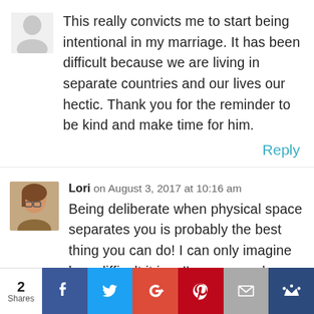[Figure (illustration): Generic gray avatar / silhouette placeholder image]
This really convicts me to start being intentional in my marriage. It has been difficult because we are living in separate countries and our lives our hectic. Thank you for the reminder to be kind and make time for him.
Reply
[Figure (photo): Photo of Lori - a woman with brown hair and glasses]
Lori on August 3, 2017 at 10:16 am
Being deliberate when physical space separates you is probably the best thing you can do! I can only imagine how difficult it is... I'm sure you have
[Figure (infographic): Social sharing bar: 2 Shares, Facebook, Twitter, Google+, Pinterest, Email, Crown buttons]